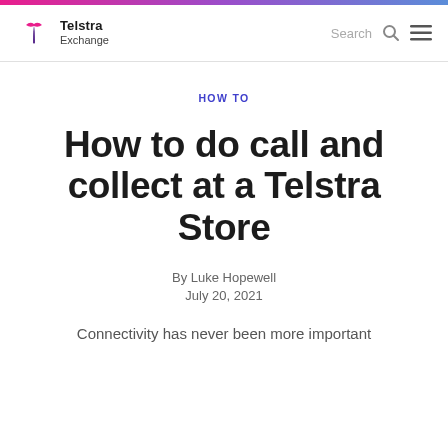Telstra Exchange — Search [navigation bar]
HOW TO
How to do call and collect at a Telstra Store
By Luke Hopewell
July 20, 2021
Connectivity has never been more important